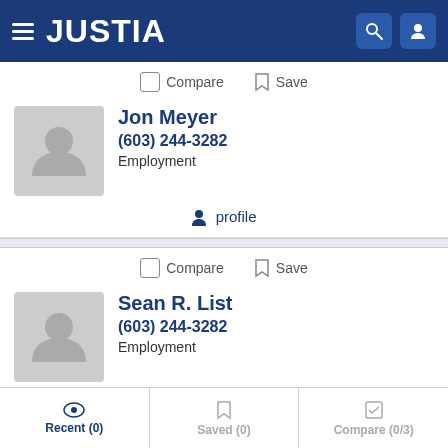JUSTIA
Compare  Save
Jon Meyer
(603) 244-3282
Employment
profile
Compare  Save
Sean R. List
(603) 244-3282
Employment
Recent (0)  Saved (0)  Compare (0/3)